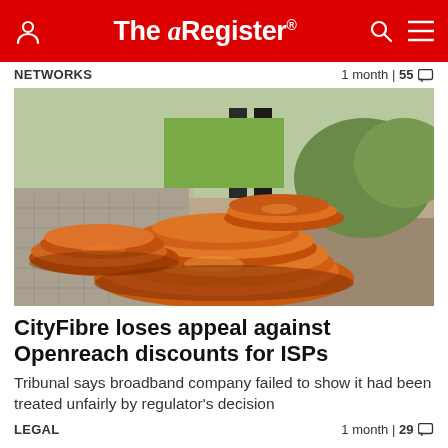The Register®
NETWORKS    1 month | 55
[Figure (photo): Coiled orange and red fiber optic cables piled on cobblestone ground outdoors, with a person standing and green bushes in background]
CityFibre loses appeal against Openreach discounts for ISPs
Tribunal says broadband company failed to show it had been treated unfairly by regulator's decision
LEGAL    1 month | 29